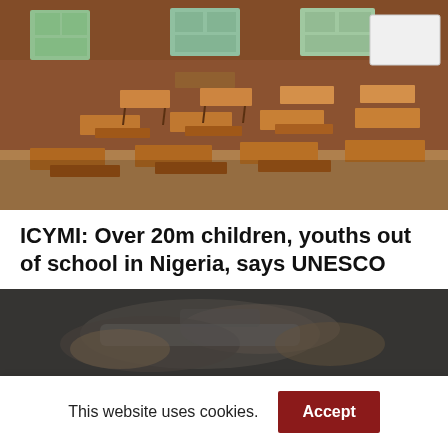[Figure (photo): Empty school classroom with wooden desks and benches arranged in rows, brick walls, windows with natural light, whiteboard at front]
ICYMI: Over 20m children, youths out of school in Nigeria, says UNESCO
[Figure (photo): Close-up blurred image of hands holding a gun or weapon]
This website uses cookies.